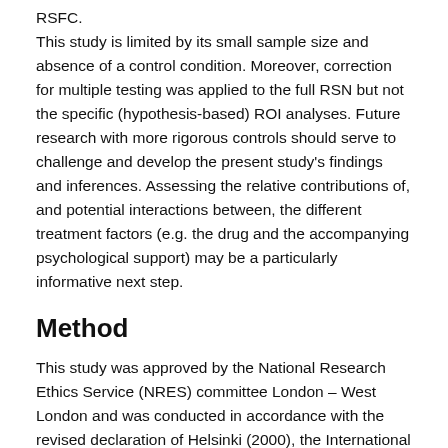RSFC.
This study is limited by its small sample size and absence of a control condition. Moreover, correction for multiple testing was applied to the full RSN but not the specific (hypothesis-based) ROI analyses. Future research with more rigorous controls should serve to challenge and develop the present study's findings and inferences. Assessing the relative contributions of, and potential interactions between, the different treatment factors (e.g. the drug and the accompanying psychological support) may be a particularly informative next step.
Method
This study was approved by the National Research Ethics Service (NRES) committee London – West London and was conducted in accordance with the revised declaration of Helsinki (2000), the International Committee on Harmonisation Good Clinical Practice (GCP) guidelines and National Health Service (NHS) Research Governance Framework. Imperial College London sponsored the research which was conducted under a Home Office license for research with schedule 1 drugs. The Medicines and Healthcare products Regulatory Agency (MHRA) approved the study. All patients gave written informed consent, consistent with GCP.